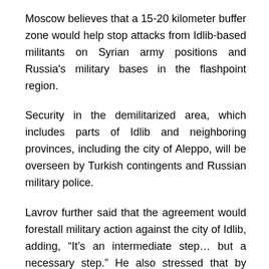Moscow believes that a 15-20 kilometer buffer zone would help stop attacks from Idlib-based militants on Syrian army positions and Russia's military bases in the flashpoint region.
Security in the demilitarized area, which includes parts of Idlib and neighboring provinces, including the city of Aleppo, will be overseen by Turkish contingents and Russian military police.
Lavrov further said that the agreement would forestall military action against the city of Idlib, adding, “It’s an intermediate step… but a necessary step.” He also stressed that by mid-October all members of the Hayat Tahrir al-Sham terror group “must leave this demilitarized zone, and all heavy military equipment must be pulled out of there.”
Meanwhile, Turkey’s Defense Ministry also said in a